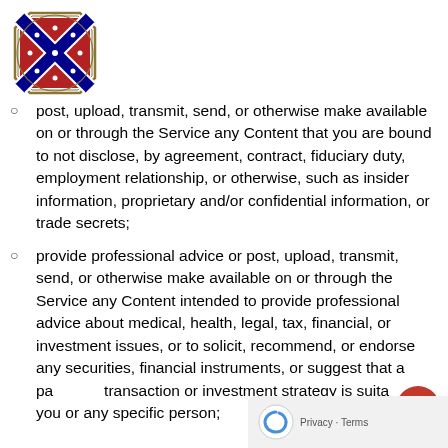[Figure (logo): Sons of Confederate Veterans logo – shield with Confederate flag, circular text]
post, upload, transmit, send, or otherwise make available on or through the Service any Content that you are bound to not disclose, by agreement, contract, fiduciary duty, employment relationship, or otherwise, such as insider information, proprietary and/or confidential information, or trade secrets;
provide professional advice or post, upload, transmit, send, or otherwise make available on or through the Service any Content intended to provide professional advice about medical, health, legal, tax, financial, or investment issues, or to solicit, recommend, or endorse any securities, financial instruments, or suggest that a particular transaction or investment strategy is suitable for you or any specific person;